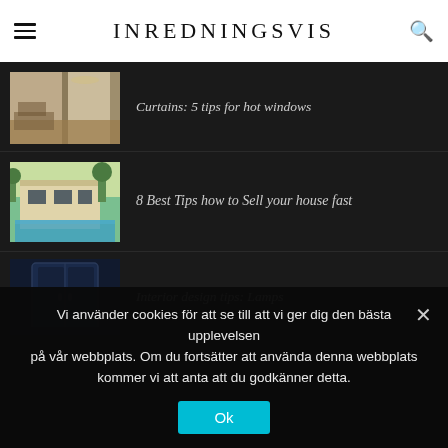INREDNINGSVIS
[Figure (photo): Interior room with large windows, curtains, wooden floor and seating area]
Curtains: 5 tips for hot windows
[Figure (photo): Modern house exterior with swimming pool and outdoor furniture]
8 Best Tips how to Sell your house fast
[Figure (photo): Dark navy blue cabinet or lamp product photo]
Interior design tips: Lamps
Vi använder cookies för att se till att vi ger dig den bästa upplevelsen på vår webbplats. Om du fortsätter att använda denna webbplats kommer vi att anta att du godkänner detta.